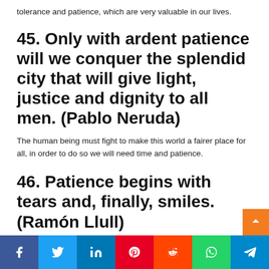tolerance and patience, which are very valuable in our lives.
45. Only with ardent patience will we conquer the splendid city that will give light, justice and dignity to all men. (Pablo Neruda)
The human being must fight to make this world a fairer place for all, in order to do so we will need time and patience.
46. Patience begins with tears and, finally, smiles. (Ramón Llull)
In the end we will achieve everything we strive for, our time will come.